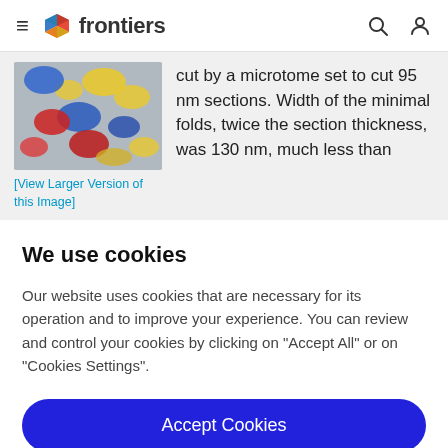frontiers
[Figure (screenshot): Colorful 3D rendered cell organelles or vesicles in blue, yellow, and red on a gray background]
[View Larger Version of this Image]
cut by a microtome set to cut 95 nm sections. Width of the minimal folds, twice the section thickness, was 130 nm, much less than
We use cookies
Our website uses cookies that are necessary for its operation and to improve your experience. You can review and control your cookies by clicking on "Accept All" or on "Cookies Settings".
Accept Cookies
Cookies Settings